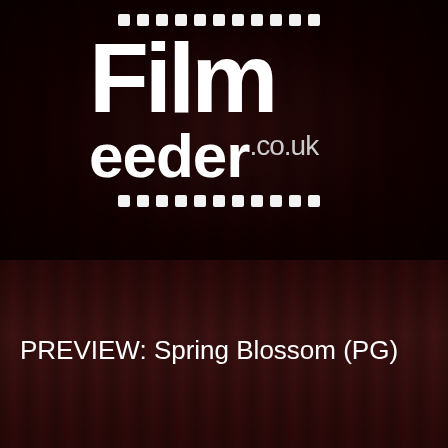[Figure (logo): FilmFeeder.co.uk logo with film strip dots above and below on dark red curtain background]
GO TO...
PREVIEW: Spring Blossom (PG)
[Figure (screenshot): TIFF Trailers video thumbnail with circular TIFF Trailers logo and title: SPRING BLOSSOM Trailer | TIFF 2020]